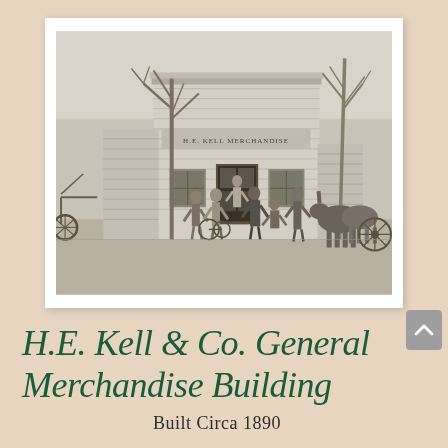[Figure (photo): Black and white historical photograph of the H.E. Kell & Co. General Merchandise Building, circa 1890. Several men stand in front of a two-story wooden commercial building. Horses, wagons, and a bicycle are visible. Bare trees flank the building.]
H.E. Kell & Co. General Merchandise Building
Built Circa 1890